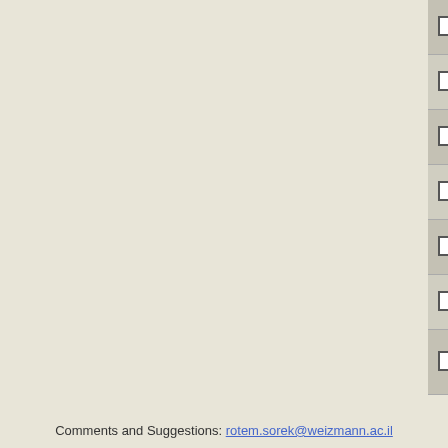|  | Accession | Gene | Description |
| --- | --- | --- | --- |
| ☐ | NC_009708 | YpsIP31758_2842 | biot... prot... |
| ☐ | NC_009719 | Plav_1735 | met... 11 |
| ☐ | NC_012880 | Dd703_2440 | Met... 11 |
| ☐ | NC_009720 | Xaut_3105 | met... 11 |
| ☐ | NC_009727 | CBUD_1043 | biot... |
| ☐ | NC_008576 | Mmc1_0033 | biot... prot... |
| ☐ | NC_010117 | COXBURSA331_A0936 | puta... bios... Bio0... |
Page 1 of 3   << first  < prev  1 2 3  n...
Refresh table to show selected only
Comments and Suggestions: rotem.sorek@weizmann.ac.il